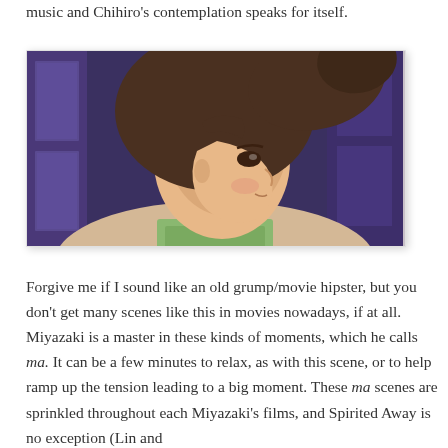music and Chihiro's contemplation speaks for itself.
[Figure (photo): Anime screenshot from Spirited Away showing Chihiro in profile view, looking contemplative, with dark hair in a ponytail, against a blue-purple background with window frames visible.]
Forgive me if I sound like an old grump/movie hipster, but you don't get many scenes like this in movies nowadays, if at all. Miyazaki is a master in these kinds of moments, which he calls ma. It can be a few minutes to relax, as with this scene, or to help ramp up the tension leading to a big moment. These ma scenes are sprinkled throughout each Miyazaki's films, and Spirited Away is no exception (Lin and